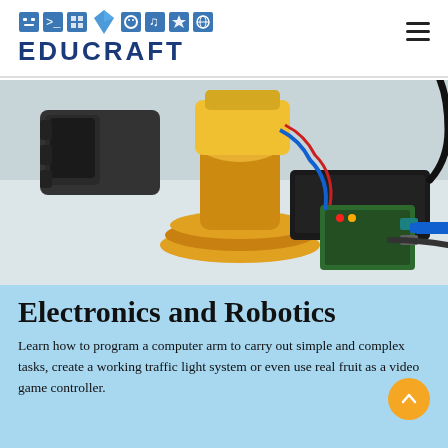EDUCRAFT
[Figure (photo): Photo of a robotic arm (yellow and black) connected to a Raspberry Pi computer with blue ethernet cable and black power cable on a table surface.]
Electronics and Robotics
Learn how to program a computer arm to carry out simple and complex tasks, create a working traffic light system or even use real fruit as a video game controller.